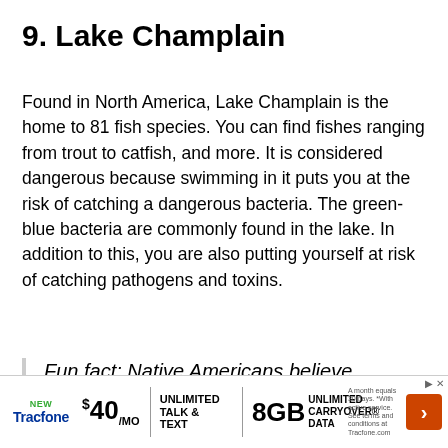9. Lake Champlain
Found in North America, Lake Champlain is the home to 81 fish species. You can find fishes ranging from trout to catfish, and more. It is considered dangerous because swimming in it puts you at the risk of catching a dangerous bacteria. The green-blue bacteria are commonly found in the lake. In addition to this, you are also putting yourself at risk of catching pathogens and toxins.
Fun fact: Native Americans believe legendary creatures, the Abenaki an... Ch...